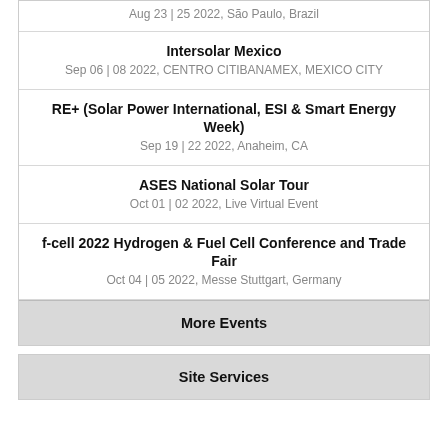Aug 23 | 25 2022, São Paulo, Brazil
Intersolar Mexico
Sep 06 | 08 2022, CENTRO CITIBANAMEX, MEXICO CITY
RE+ (Solar Power International, ESI & Smart Energy Week)
Sep 19 | 22 2022, Anaheim, CA
ASES National Solar Tour
Oct 01 | 02 2022, Live Virtual Event
f-cell 2022 Hydrogen & Fuel Cell Conference and Trade Fair
Oct 04 | 05 2022, Messe Stuttgart, Germany
More Events
Site Services